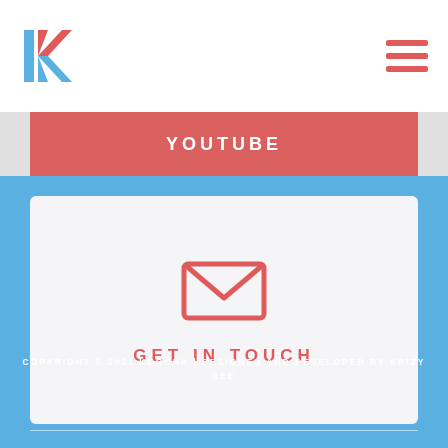[Figure (logo): Korona logo — stylized K in blue and red stripes]
[Figure (other): Hamburger menu icon — three red horizontal lines]
YOUTUBE
[Figure (illustration): Envelope / mail icon in coral/red on white card]
GET IN TOUCH
COPYRIGHT © 2021 KORONA | DESIGNED AND DEVELOPED BY KRIZY SEE